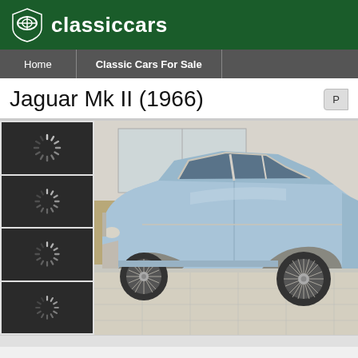classiccars
Home | Classic Cars For Sale
Jaguar Mk II (1966)
[Figure (photo): Classic car listing page showing a 1966 Jaguar Mk II in light blue/silver color, photographed in a showroom. Left column shows four dark thumbnail placeholders with loading spinners. Main image shows the side profile of the Jaguar with wire wheels on a tiled floor with showroom furniture in the background.]